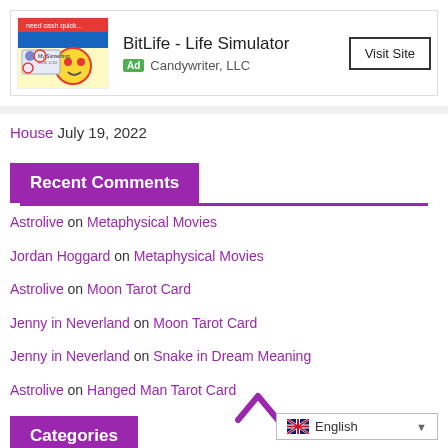[Figure (screenshot): Ad banner for BitLife - Life Simulator by Candywriter LLC with a Visit Site button]
House July 19, 2022
Recent Comments
Astrolive on Metaphysical Movies
Jordan Hoggard on Metaphysical Movies
Astrolive on Moon Tarot Card
Jenny in Neverland on Moon Tarot Card
Jenny in Neverland on Snake in Dream Meaning
Astrolive on Hanged Man Tarot Card
Categories